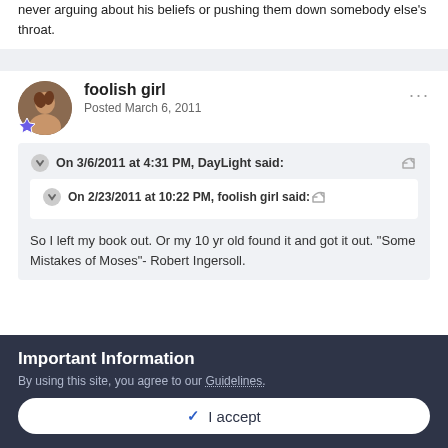never arguing about his beliefs or pushing them down somebody else's throat.
foolish girl
Posted March 6, 2011
On 3/6/2011 at 4:31 PM, DayLight said:
On 2/23/2011 at 10:22 PM, foolish girl said:
So I left my book out. Or my 10 yr old found it and got it out. "Some Mistakes of Moses"- Robert Ingersoll.
Important Information
By using this site, you agree to our Guidelines.
✓ I accept